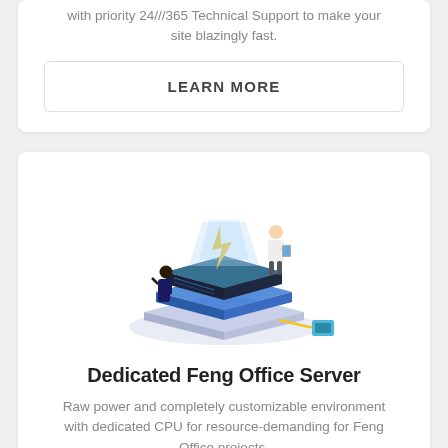with priority 24/7/365 Technical Support to make your site blazingly fast.
LEARN MORE
[Figure (illustration): Isometric illustration of a dedicated server stack with a lightning bolt on top, a glowing blue light beam, a person in a lab coat standing to the right holding a tablet, another person crouching to the left, and a network cable connecting to a small blue device.]
Dedicated Feng Office Server
Raw power and completely customizable environment with dedicated CPU for resource-demanding for Feng Office projects.